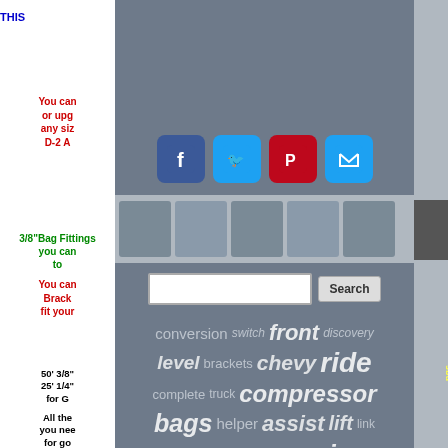THIS
You can or upg any siz D-2 A
3/8"Bag Fittings you can to
You can Brack fit your
50' 3/8" 25' 1/4" for G
All the you nee for go
8-Valve Assen Fitting same as 8-brac on Manifold Dual Contr can up other
[Figure (screenshot): Social media sharing panel with Facebook, Twitter, Pinterest, and Email/envelope icons on a gray background]
[Figure (photo): Strip of product part images on gray background]
Search
[Figure (infographic): Tag cloud with automotive suspension-related keywords in various sizes: conversion, switch, front, discovery, level, brackets, chevy, ride, complete, truck, compressor, bags, helper, assist, lift, link, recovery, suspension, lowering, land, spring, load, mercedes, range, sprinter, rover]